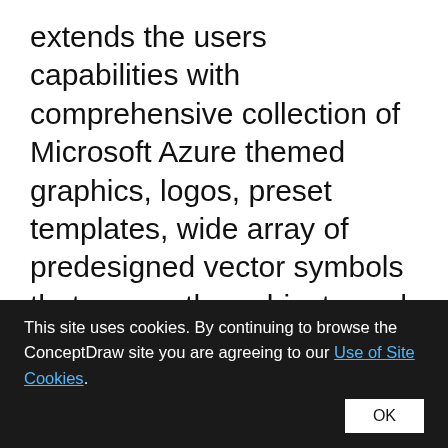extends the users capabilities with comprehensive collection of Microsoft Azure themed graphics, logos, preset templates, wide array of predesigned vector symbols that covers the subjects such as Azure management, Azure storage, and Azure services, amongst others, and allow you to illustrate Azure Architecture diagrams at any degree of complexity, to present visually your Azure cloud system architecture with professional style, to
This site uses cookies. By continuing to browse the ConceptDraw site you are agreeing to our Use of Site Cookies.